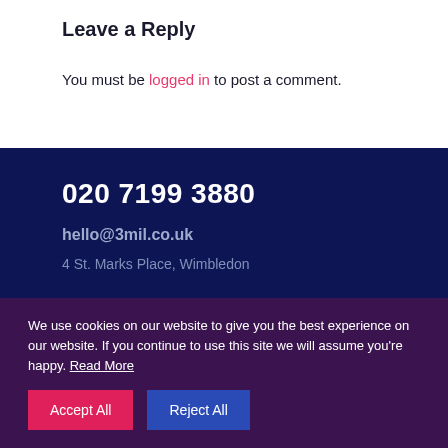Leave a Reply
You must be logged in to post a comment.
020 7199 3880
hello@3mil.co.uk
4 St. Marks Place, Wimbledon
We use cookies on our website to give you the best experience on our website. If you continue to use this site we will assume you're happy. Read More
Accept All
Reject All